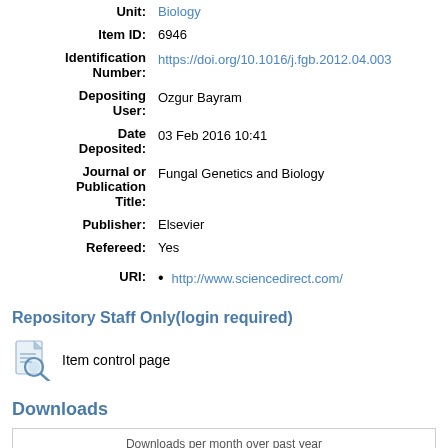| Field | Value |
| --- | --- |
| Unit: | Biology |
| Item ID: | 6946 |
| Identification Number: | https://doi.org/10.1016/j.fgb.2012.04.003 |
| Depositing User: | Ozgur Bayram |
| Date Deposited: | 03 Feb 2016 10:41 |
| Journal or Publication Title: | Fungal Genetics and Biology |
| Publisher: | Elsevier |
| Refereed: | Yes |
| URI: | http://www.sciencedirect.com/ |
Repository Staff Only(login required)
[Figure (illustration): Document/magnifying glass icon representing item control page]
Item control page
Downloads
Downloads per month over past year